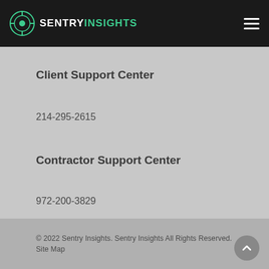SENTRY INSIGHTS
Client Support Center
214-295-2615
Contractor Support Center
972-200-3829
© 2022 Sentry Insights. Sentry Insights All Rights Reserved. Site Map